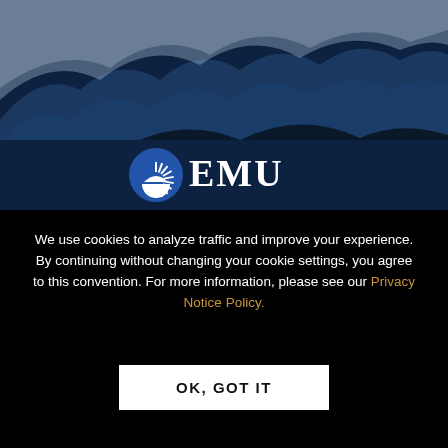[Figure (illustration): EMU university header with mountain/wave landscape illustration in blues and dark navy, featuring the EMU logo (sunburst semicircle icon with the letters EMU in white) centered on a dark navy bar.]
We use cookies to analyze traffic and improve your experience. By continuing without changing your cookie settings, you agree to this convention. For more information, please see our Privacy Notice Policy.
OK, GOT IT